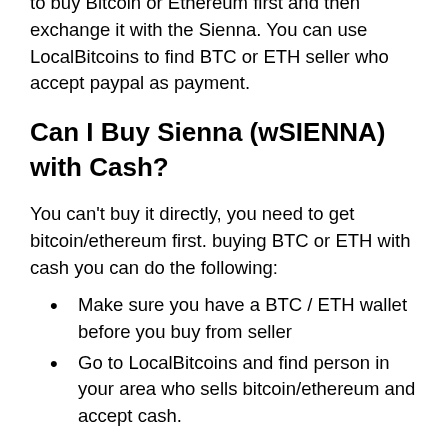to buy Bitcoin or Ethereum first and then exchange it with the Sienna. You can use LocalBitcoins to find BTC or ETH seller who accept paypal as payment.
Can I Buy Sienna (wSIENNA) with Cash?
You can’t buy it directly, you need to get bitcoin/ethereum first. buying BTC or ETH with cash you can do the following:
Make sure you have a BTC / ETH wallet before you buy from seller
Go to LocalBitcoins and find person in your area who sells bitcoin/ethereum and accept cash.
Can I Buy Sienna (wSIENNA) with Skrill?